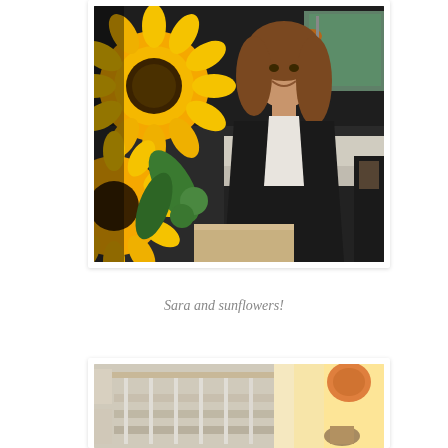[Figure (photo): A smiling woman with brown wavy hair wearing a black blazer over a white top, standing in a kitchen with large yellow sunflowers in the foreground. Copper pendant light visible in background.]
Sara and sunflowers!
[Figure (photo): Interior staircase with white railings and banisters in a bright home interior, warm light coming from the right side.]